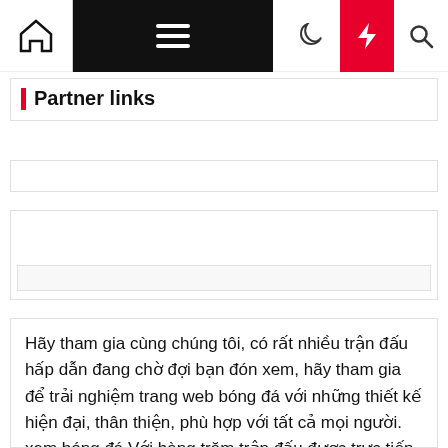Partner links
Hãy tham gia cùng chúng tôi, có rất nhiều trận đấu hấp dẫn đang chờ đợi bạn đón xem, hãy tham gia để trải nghiệm trang web bóng đá với những thiết kế hiện đại, thân thiện, phù hợp với tất cả mọi người. xem bóng đá Với hàng trăm trận đấu được trực tiếp hàng tuần, chúng tôi tự hào là một trong những trang Web lớn nhất Việt Nam về lượng người xem đông đảo, chất lượng ưu việt, Trang web Việt Nam